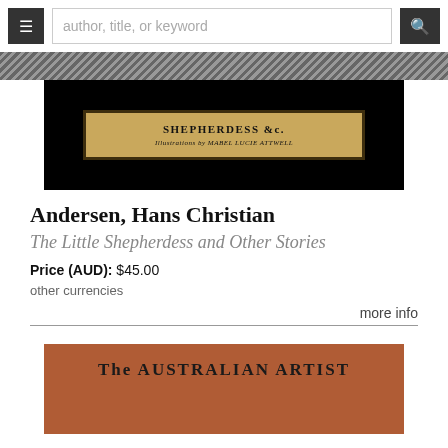author, title, or keyword
[Figure (photo): Book spine showing 'SHEPHERDESS &c. Illustrations by MABEL LUCIE ATTWELL' on a tan/gold background against a black background]
Andersen, Hans Christian
The Little Shepherdess and Other Stories
Price (AUD): $45.00
other currencies
more info
[Figure (photo): Book cover showing 'The AUSTRALIAN ARTIST' in large bold letters on a brownish-orange background]